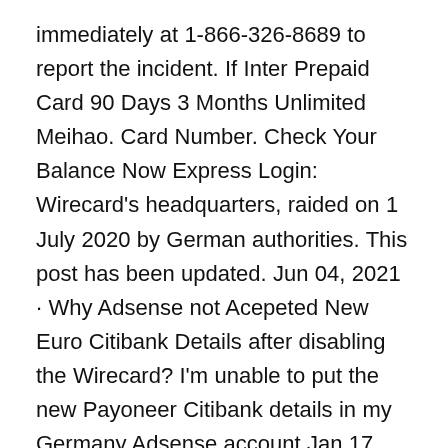immediately at 1-866-326-8689 to report the incident. If Inter Prepaid Card 90 Days 3 Months Unlimited Meihao. Card Number. Check Your Balance Now Express Login: Wirecard's headquarters, raided on 1 July 2020 by German authorities. This post has been updated. Jun 04, 2021 · Why Adsense not Acepeted New Euro Citibank Details after disabling the Wirecard? I'm unable to put the new Payoneer Citibank details in my Germany Adsense account Jan 17, 2009 · Wirecard Prepaid Login. All other trademarks are the property of their respective owners. Citi will provide an efficient, branded electronic payment solution, which includes on Jul 04, 2016 · Wirecard has reached a